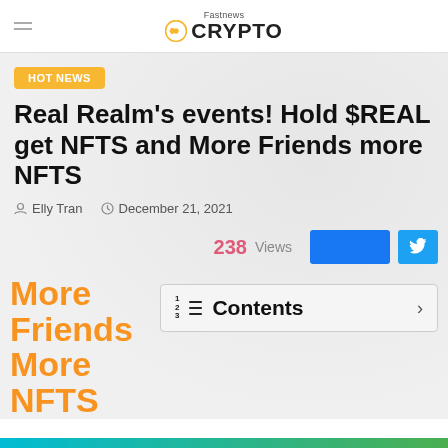Fastnews CRYPTO
HOT NEWS
Real Realm's events! Hold $REAL get NFTS and More Friends more NFTS
Elly Tran   December 21, 2021
238 Views
More Friends More NFTS
Contents